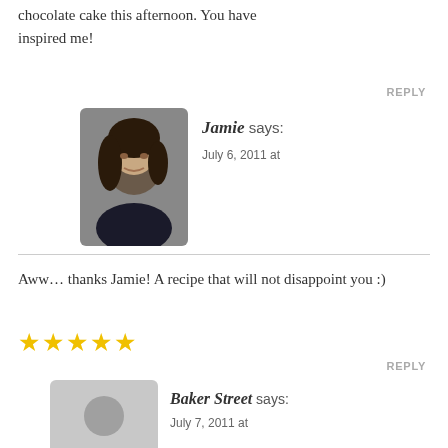chocolate cake this afternoon. You have inspired me!
REPLY
[Figure (photo): Avatar photo of Jamie, a woman with dark short hair]
Jamie says:
July 6, 2011 at
Aww… thanks Jamie! A recipe that will not disappoint you :)
★★★★★
REPLY
[Figure (illustration): Generic grey silhouette avatar for Baker Street]
Baker Street says:
July 7, 2011 at
There nothing quite like a good old fashioned chocolate cake, it's one of those classics that delights every time.
REPLY